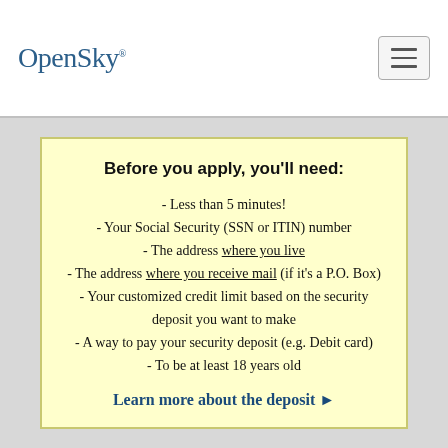OpenSky
Before you apply, you'll need:
- Less than 5 minutes!
- Your Social Security (SSN or ITIN) number
- The address where you live
- The address where you receive mail (if it's a P.O. Box)
- Your customized credit limit based on the security deposit you want to make
- A way to pay your security deposit (e.g. Debit card)
- To be at least 18 years old
Learn more about the deposit ▶